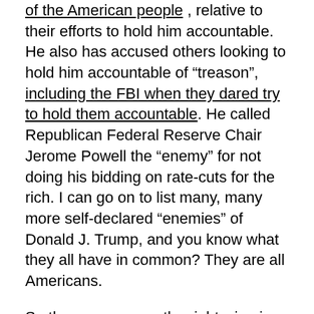of the American people, relative to their efforts to hold him accountable. He also has accused others looking to hold him accountable of "treason", including the FBI when they dared try to hold them accountable. He called Republican Federal Reserve Chair Jerome Powell the "enemy" for not doing his bidding on rate-cuts for the rich. I can go on to list many, many more self-declared "enemies" of Donald J. Trump, and you know what they all have in common? They are all Americans.
So the response on the right wing is that the left made ourselves Trumps enemey long before, and may even cherry-pick some fringe element or out of context quote claiming the GOP are their "enemies", too, but it will just be false equivalance. There is nothing that is equivalent to the President of the